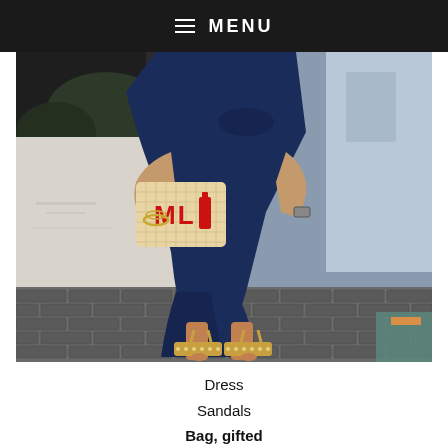≡ MENU
[Figure (photo): Person wearing a navy blue wrap dress and embellished flat sandals, holding a straw clutch bag with red 'ML' lettering, standing on a cobblestone street.]
Dress
Sandals
Bag, gifted